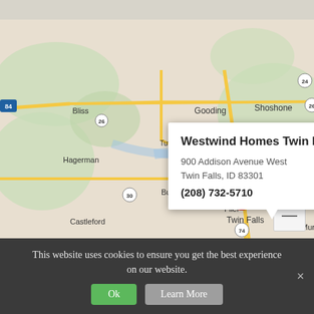[Figure (map): Google Maps screenshot showing Twin Falls, Idaho area with a red location pin marker for Westwind Homes Twin Falls. Visible cities include Bliss, Gooding, Shoshone, Hagerman, Tuttl, Buhl, Filer, Twin Falls, Eden, Castleford, Murtaugh, Hidden Valley. Roads including highways 84, 26, 30, 93, 74, 24 are shown. Snake River is labeled. Map zoom +/- controls visible in lower right.]
Westwind Homes Twin Falls
900 Addison Avenue West
Twin Falls, ID 83301
(208) 732-5710
This website uses cookies to ensure you get the best experience on our website.